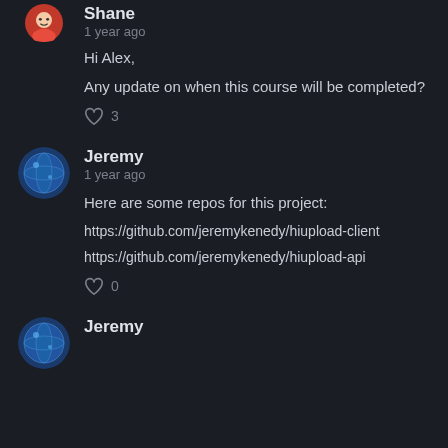[Figure (illustration): Partial avatar of Shane at top left, cartoon style]
Shane
1 year ago
Hi Alex,
Any update on when this course will be completed?
♡ 3
[Figure (illustration): Avatar of Jeremy, globe/earth style icon]
Jeremy
1 year ago
Here are some repos for this project:
https://github.com/jeremykenedy/hiupload-client
https://github.com/jeremykenedy/hiupload-api
♡ 0
[Figure (illustration): Partial avatar of Jeremy at bottom, globe/earth style icon]
Jeremy